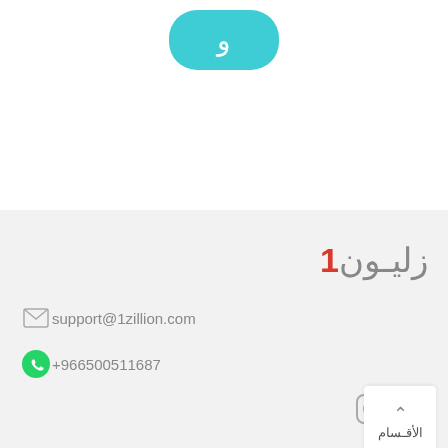[Figure (logo): Teal rounded rectangle button with white letter 'u' or Arabic character]
1زليون
support@1zillion.com ✉
+966500511687 📱
[Figure (other): Instagram and Facebook social media icons]
الأقسام